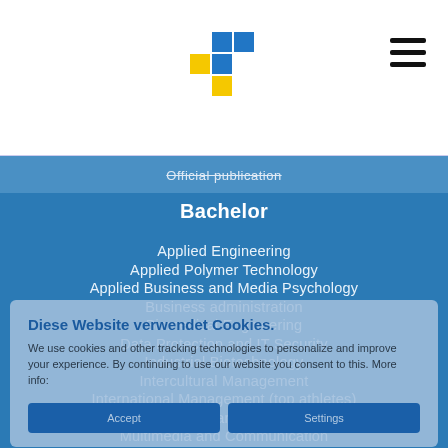[Figure (logo): University logo: blue and yellow cross/plus symbol]
Official publication
Bachelor
Applied Engineering
Applied Polymer Technology
Applied Business and Media Psychology
Business administration
Biomedical Engineering
Data Protection and IT Security
Industrial Biotechnology
Intercultural Management
International Management (top athletes)
Artificial Intelligence and Cognitive Systems
Multimedia and Communication
Sustainable Engineering
Diese Website verwendet Cookies.
We use cookies and other tracking technologies to personalize and improve your experience. By continuing to use our website you consent to this. More info: